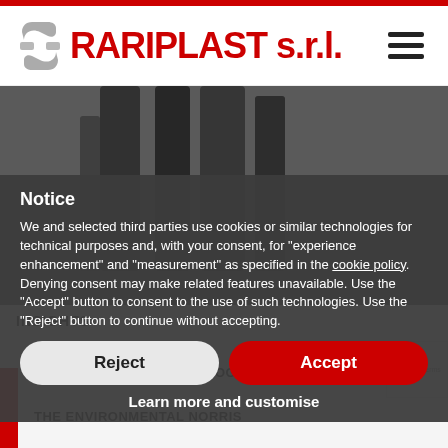[Figure (logo): Rariplast s.r.l. company logo with grey interlocking shapes icon and red bold text]
[Figure (photo): Industrial pipes photograph in dark grey tones, partial view]
Notice
We and selected third parties use cookies or similar technologies for technical purposes and, with your consent, for “experience enhancement” and “measurement” as specified in the cookie policy. Denying consent may make related features unavailable. Use the “Accept” button to consent to the use of such technologies. Use the “Reject” button to continue without accepting.
INSIGHTS
RENEWABLE ENERGIES BIOGAS BIOMASS
Reject
Accept
Learn more and customise
THE ENVIRONMENTAL NORRIS